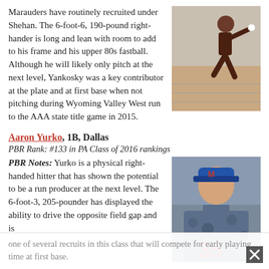Marauders have routinely recruited under Shehan. The 6-foot-6, 190-pound right-hander is long and lean with room to add to his frame and his upper 80s fastball. Although he will likely only pitch at the next level, Yankosky was a key contributor at the plate and at first base when not pitching during Wyoming Valley West run to the AAA state title game in 2015.
[Figure (photo): Baseball pitcher in dark uniform mid-wind-up on a mound]
Aaron Yurko, 1B, Dallas
PBR Rank: #133 in PA Class of 2016 rankings
PBR Notes: Yurko is a physical right-handed hitter that has shown the potential to be a run producer at the next level. The 6-foot-3, 205-pounder has displayed the ability to drive the opposite field gap and is one of several recruits in this class that will compete for early playing time at first base.
[Figure (photo): Baseball player in blue camo uniform with number 35 posing for headshot photo]